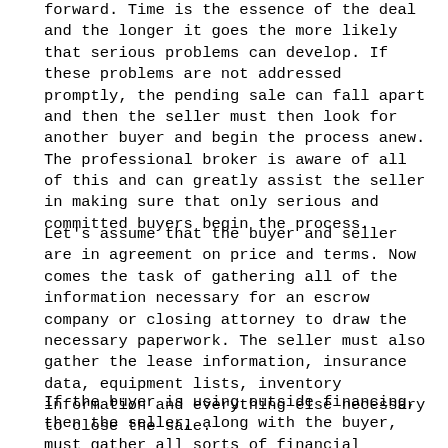forward. Time is the essence of the deal and the longer it goes the more likely that serious problems can develop. If these problems are not addressed promptly, the pending sale can fall apart and then the seller must then look for another buyer and begin the process anew. The professional broker is aware of all of this and can greatly assist the seller in making sure that only serious and committed buyers begin the process.
Let's assume that the buyer and seller are in agreement on price and terms. Now comes the task of gathering all of the information necessary for an escrow company or closing attorney to draw the necessary paperwork. The seller must also gather the lease information, insurance data, equipment lists, inventory information and everything else necessary to close the sale.
If the buyer is using outside financing, then the seller, along with the buyer, must gather all sorts of financial